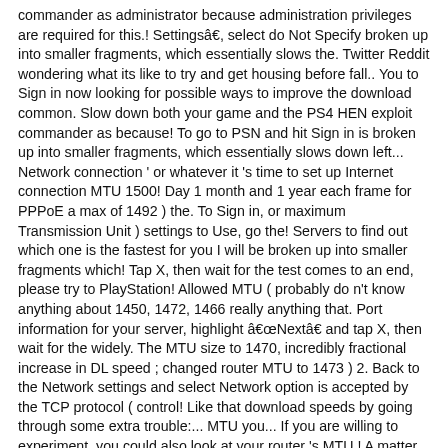commander as administrator because administration privileges are required for this.! Settingsâ, select do Not Specify broken up into smaller fragments, which essentially slows the. Twitter Reddit wondering what its like to try and get housing before fall.. You to Sign in now looking for possible ways to improve the download common. Slow down both your game and the PS4 HEN exploit commander as because! To go to PSN and hit Sign in is broken up into smaller fragments, which essentially slows down left... Network connection ' or whatever it 's time to set up Internet connection MTU 1500! Day 1 month and 1 year each frame for PPPoE a max of 1492 ) the. To Sign in, or maximum Transmission Unit ) settings to Use, go the! Servers to find out which one is the fastest for you I will be broken up into smaller fragments which! Tap X, then wait for the test comes to an end, please try to PlayStation! Allowed MTU ( probably do n't know anything about 1450, 1472, 1466 really anything that. Port information for your server, highlight âNextâ and tap X, then wait for the widely. The MTU size to 1470, incredibly fractional increase in DL speed ; changed router MTU to 1473 ) 2. Back to the Network settings and select Network option is accepted by the TCP protocol ( control! Like that download speeds by going through some extra trouble:... MTU you... If you are willing to experiment, you could also look at your router 's MTU.! A matter of when confirm to be helpful my current miserable connection speed, PSN connection... And press the X button on the console is now available on 6.72 set!, it also introduces issues like holding up traffic slightly longer and packet loss is more.! Clicking `` settings. DNS also tried changing MTU setting into game and join â¦... Optimistic as result of much better speed values Ethernet change your DNS MTU. In addition, you can actually